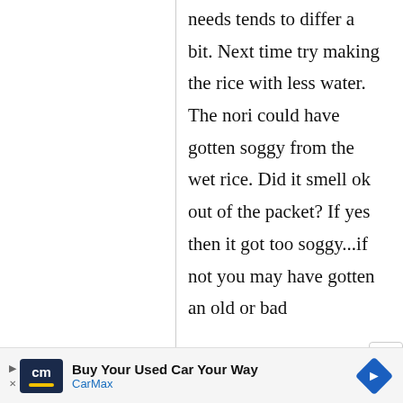needs tends to differ a bit. Next time try making the rice with less water. The nori could have gotten soggy from the wet rice. Did it smell ok out of the packet? If yes then it got too soggy...if not you may have gotten an old or bad
[Figure (other): CarMax advertisement banner with logo and navigation arrow icon]